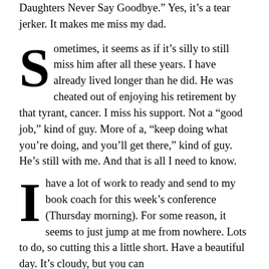Daughters Never Say Goodbye.” Yes, it’s a tear jerker. It makes me miss my dad.
Sometimes, it seems as if it’s silly to still miss him after all these years. I have already lived longer than he did. He was cheated out of enjoying his retirement by that tyrant, cancer. I miss his support. Not a “good job,” kind of guy. More of a, “keep doing what you’re doing, and you’ll get there,” kind of guy. He’s still with me. And that is all I need to know.
I have a lot of work to ready and send to my book coach for this week’s conference (Thursday morning). For some reason, it seems to just jump at me from nowhere. Lots to do, so cutting this a little short. Have a beautiful day. It’s cloudy, but you can